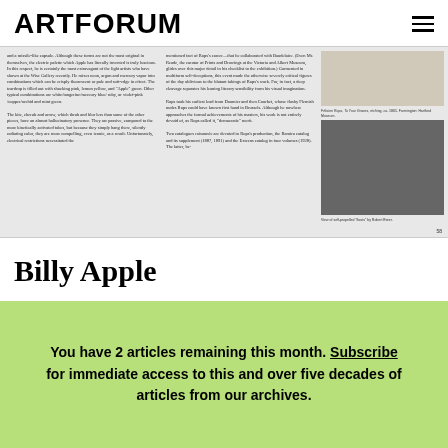ARTFORUM
[Figure (photo): Scanned magazine spread showing two columns of small text and black-and-white photographs of artworks, with page number 58 visible in the bottom right corner.]
Billy Apple
You have 2 articles remaining this month. Subscribe for immediate access to this and over five decades of articles from our archives.